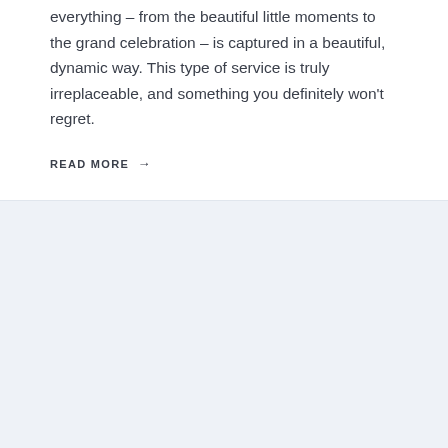everything – from the beautiful little moments to the grand celebration – is captured in a beautiful, dynamic way. This type of service is truly irreplaceable, and something you definitely won't regret.
READ MORE →